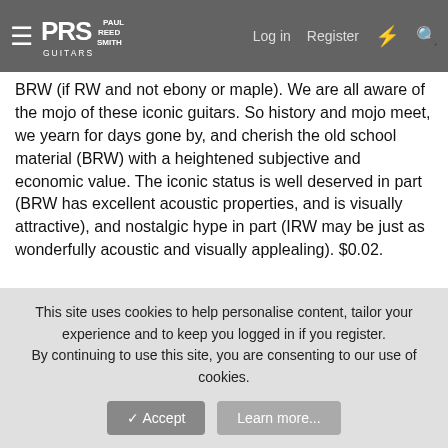PRS Paul Reed Smith Guitars — Log in | Register
BRW (if RW and not ebony or maple). We are all aware of the mojo of these iconic guitars. So history and mojo meet, we yearn for days gone by, and cherish the old school material (BRW) with a heightened subjective and economic value. The iconic status is well deserved in part (BRW has excellent acoustic properties, and is visually attractive), and nostalgic hype in part (IRW may be just as wonderfully acoustic and visually applealing). $0.02.
You must log in or register to reply here.
Share:
← General Discussion
This site uses cookies to help personalise content, tailor your experience and to keep you logged in if you register.
By continuing to use this site, you are consenting to our use of cookies.
✓ Accept
Learn more...